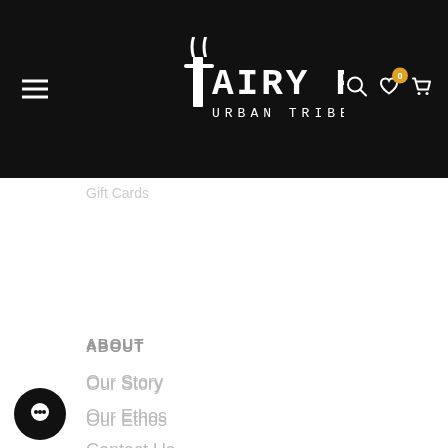[Figure (logo): Fairy Floss Urban Tribe Wear logo in white on black background with hamburger menu, search, wishlist, and cart icons]
Gift Cards
ABOUT
Our Story
Our Ethos
Contact Us
Subscribe
DISCOVER
Videos
Lookbooks